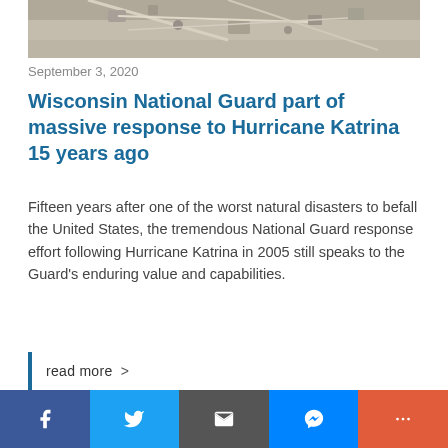[Figure (photo): Aerial photograph of a building rooftop with HVAC equipment and piping, taken from above.]
September 3, 2020
Wisconsin National Guard part of massive response to Hurricane Katrina 15 years ago
Fifteen years after one of the worst natural disasters to befall the United States, the tremendous National Guard response effort following Hurricane Katrina in 2005 still speaks to the Guard’s enduring value and capabilities.
read more >
Facebook | Twitter | Email | Messenger | More